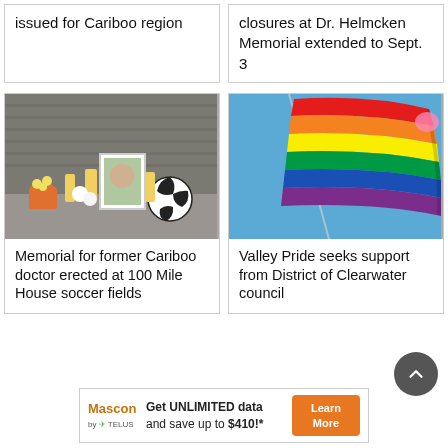issued for Cariboo region
closures at Dr. Helmcken Memorial extended to Sept. 3
[Figure (photo): Memorial with candles, flowers, a framed photo, and a soccer ball on gravel ground against a grey wall]
Memorial for former Cariboo doctor erected at 100 Mile House soccer fields
[Figure (photo): Rainbow Pride flag waving against a blue sky]
Valley Pride seeks support from District of Clearwater council
Get UNLIMITED data and save up to $410!*
[Figure (logo): Mascon by TELUS logo with orange and green branding]